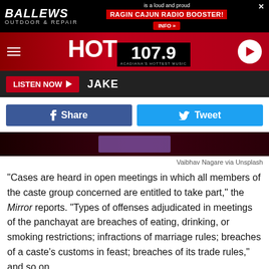[Figure (screenshot): Ballews Outdoor & Repair advertisement banner with Ragin Cajun Radio Booster text and INFO button]
[Figure (logo): HOT 107.9 Acadiana's Hottest Music radio station banner with hamburger menu and play button]
[Figure (screenshot): Listen Now button with JAKE DJ name on dark bar]
[Figure (screenshot): Facebook Share and Twitter Tweet social media buttons]
[Figure (photo): Dark reddish image strip with purple/violet overlay element]
Vaibhav Nagare via Unsplash
"Cases are heard in open meetings in which all members of the caste group concerned are entitled to take part," the Mirror reports. "Types of offenses adjudicated in meetings of the panchayat are breaches of eating, drinking, or smoking restrictions; infractions of marriage rules; breaches of a caste's customs in feast; breaches of its trade rules," and so on.